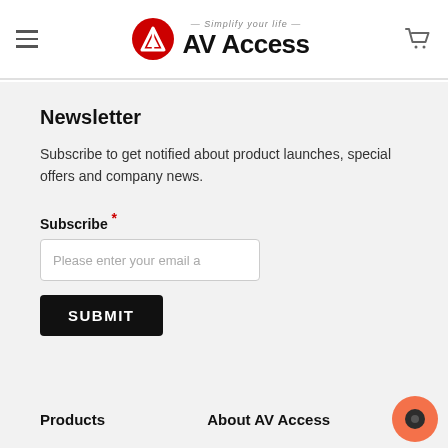AV Access — Simplify your life
Newsletter
Subscribe to get notified about product launches, special offers and company news.
Subscribe *
Please enter your email a
SUBMIT
Products
About AV Access